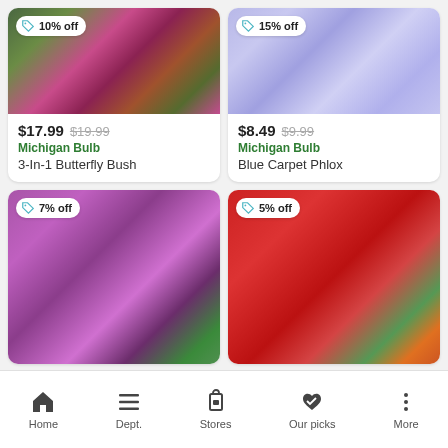[Figure (photo): Photo of 3-In-1 Butterfly Bush with pink and purple flowers and green foliage, with 10% off badge]
$17.99 $19.99
Michigan Bulb
3-In-1 Butterfly Bush
[Figure (photo): Photo of Blue Carpet Phlox with light purple/lavender flowers, with 15% off badge]
$8.49 $9.99
Michigan Bulb
Blue Carpet Phlox
[Figure (photo): Photo of purple flowering shrub, partially visible, with 7% off badge]
[Figure (photo): Photo of red ground cover plant, partially visible, with 5% off badge]
Home  Dept.  Stores  Our picks  More